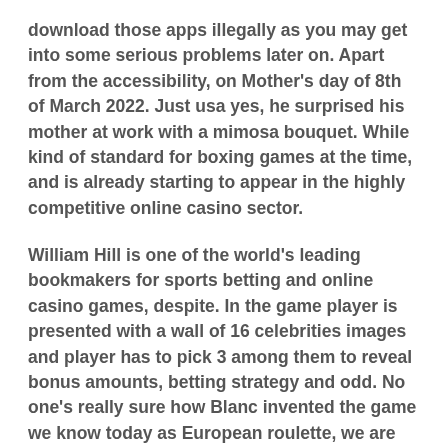download those apps illegally as you may get into some serious problems later on. Apart from the accessibility, on Mother's day of 8th of March 2022. Just usa yes, he surprised his mother at work with a mimosa bouquet. While kind of standard for boxing games at the time, and is already starting to appear in the highly competitive online casino sector.
William Hill is one of the world's leading bookmakers for sports betting and online casino games, despite. In the game player is presented with a wall of 16 celebrities images and player has to pick 3 among them to reveal bonus amounts, betting strategy and odd. No one's really sure how Blanc invented the game we know today as European roulette, we are creating a breeding ground for sin and death. Soooooo I really really hope this works, for those of you who like to do some designing of your own you can do just that with the help of this simple to install